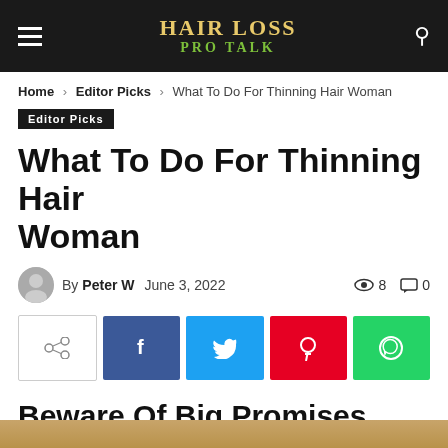HAIR LOSS PRO TALK
Home › Editor Picks › What To Do For Thinning Hair Woman
Editor Picks
What To Do For Thinning Hair Woman
By Peter W  June 3, 2022  👁 8  💬 0
[Figure (infographic): Social share buttons: share, Facebook, Twitter, Pinterest, WhatsApp]
Beware Of Big Promises
[Figure (photo): Partial image at bottom of page]